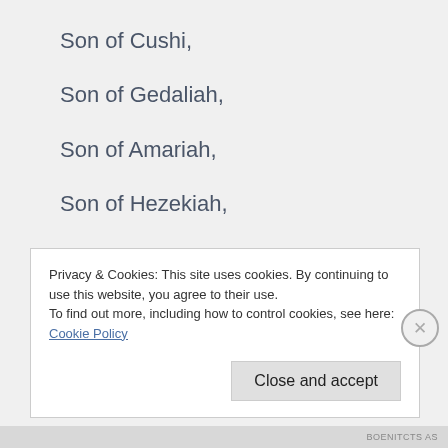Son of Cushi,
Son of Gedaliah,
Son of Amariah,
Son of Hezekiah,
In the days
Privacy & Cookies: This site uses cookies. By continuing to use this website, you agree to their use.
To find out more, including how to control cookies, see here: Cookie Policy
Close and accept